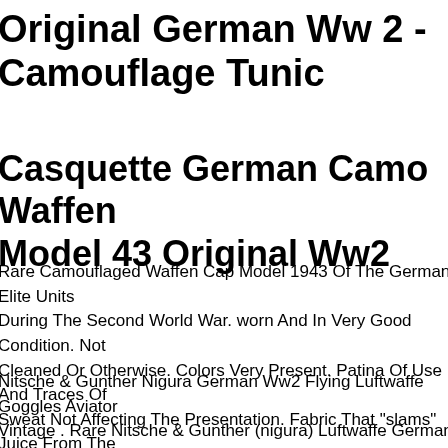Original German Ww 2 - Camouflage Tunic
Casquette German Camo Waffen Model 43 Original Ww2
Rare Camouflaged Waffen Cap Model 1943 Of The German Elite Units During The Second World War. worn And In Very Good Condition. Not Cleaned Or Otherwise. Colors Very Present. Patina Of Use And Traces Of Sweat Not Affecting The Presentation. Fabric That "slams" Juice From The Atic Not Cleaned. Flexible Visor (cardboard), Seam Trace Of The Badge On The Front. Size 5657 Cm. landser, Wh, Lw Normandy, Ardennes, Operation.1944, 39-45.elite Troops.
Nitsche & Gunther Nigura German Ww2 Flying Luftwaffe Goggles Aviator Vintage . Rare Nitsche & Gunther (nigura) Luftwaffe German Ww2 Flying Goggles. Clear Lenses Perfect. Elastic Head Band Still Have Elasticity. Keep An Eye! We Leave The Cleaning Decision Up To You. No Visible Flaws In